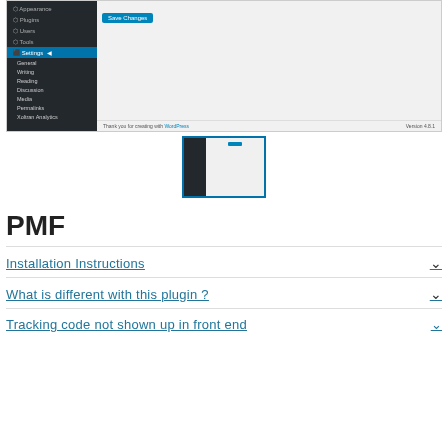[Figure (screenshot): WordPress admin panel screenshot showing Settings menu expanded with sub-items (General, Writing, Reading, Discussion, Media, Permalinks, Xoltran Analytics), a Save Changes button, and footer with 'Thank you for creating with WordPress' and 'Version 4.8.1']
[Figure (screenshot): Thumbnail of the WordPress admin panel screenshot, with blue border]
PMF
Installation Instructions
What is different with this plugin ?
Tracking code not shown up in front end